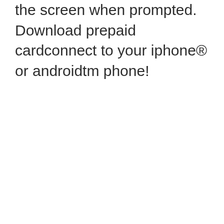the screen when prompted. Download prepaid cardconnect to your iphone® or androidtm phone!